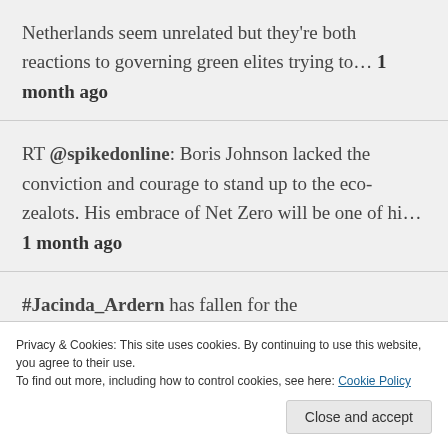Netherlands seem unrelated but they're both reactions to governing green elites trying to… 1 month ago
RT @spikedonline: Boris Johnson lacked the conviction and courage to stand up to the eco-zealots. His embrace of Net Zero will be one of hi… 1 month ago
#Jacinda_Ardern has fallen for the #Green_Agenda & the #ACC fraud hook line & sinker but don't forget she got her n… twitter.com/i/web/status/1… 1 month ago
Privacy & Cookies: This site uses cookies. By continuing to use this website, you agree to their use. To find out more, including how to control cookies, see here: Cookie Policy